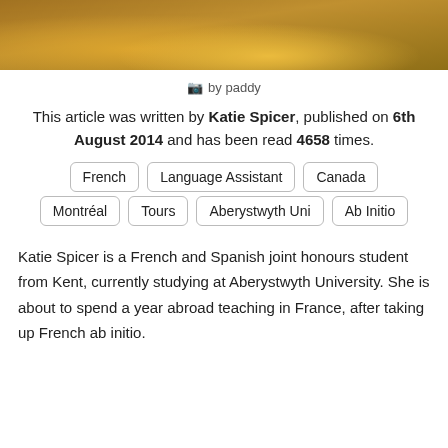[Figure (photo): Photograph strip showing a night scene with warm golden light on stone floor/pavement, shot from above at an angle]
📷 by paddy
This article was written by Katie Spicer, published on 6th August 2014 and has been read 4658 times.
French
Language Assistant
Canada
Montréal
Tours
Aberystwyth Uni
Ab Initio
Katie Spicer is a French and Spanish joint honours student from Kent, currently studying at Aberystwyth University. She is about to spend a year abroad teaching in France, after taking up French ab initio.